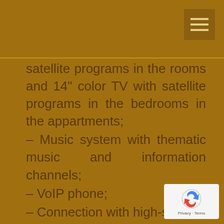satellite programs in the rooms and 14" color TV with satellite programs in the bedrooms in the appartments;
– Music system with thematic music and information channels;
– VoIP phone;
– Connection with high-speed internet;
– Info Star – Interactive hotel system – Video on demand, Music on